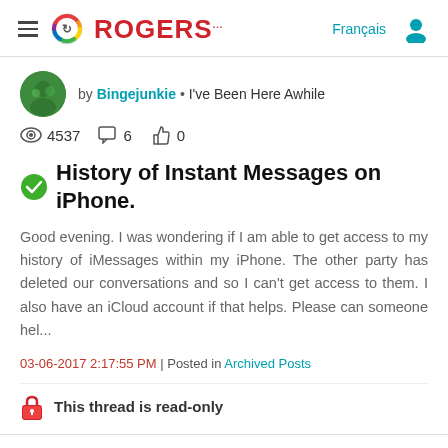[Figure (logo): Rogers logo with hamburger menu, circular rainbow icon, ROGERS text in red, Français link and user icon]
by Bingejunkie • I've Been Here Awhile
4537 views • 6 comments • 0 likes
History of Instant Messages on iPhone.
Good evening. I was wondering if I am able to get access to my history of iMessages within my iPhone. The other party has deleted our conversations and so I can't get access to them. I also have an iCloud account if that helps. Please can someone hel...
03-06-2017 2:17:55 PM | Posted in Archived Posts
This thread is read-only